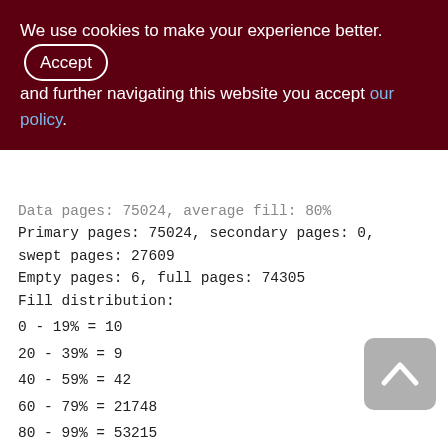We use cookies to make your experience better. By accepting and further navigating this website you accept our policy.
Data pages: 75024, average fill: 80%
Primary pages: 75024, secondary pages: 0, swept pages: 27609
Empty pages: 6, full pages: 74305
Fill distribution:
0 - 19% = 10
20 - 39% = 9
40 - 59% = 42
60 - 79% = 21748
80 - 99% = 53215

Index XQS_1000_1200_DOC_ID (0)
Root page: 54645, depth: 3, leaf buckets: